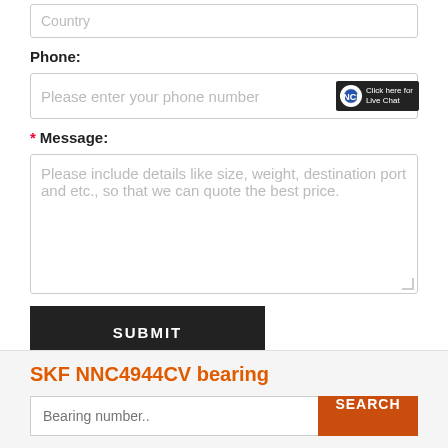Country (placeholder input field)
Phone:
Please enter your phone number
* Message:
Please include details like size, weight, destination port and etc., so that we can quote the best price.
SUBMIT
SKF NNC4944CV bearing
Bearing number.. SEARCH